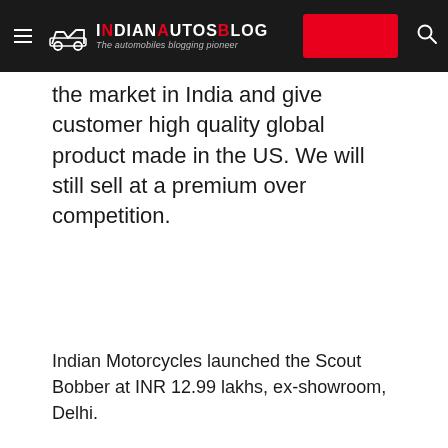IndianAutosBlog — The automobiles blogging pioneer
the market in India and give customer high quality global product made in the US. We will still sell at a premium over competition.
Indian Motorcycles launched the Scout Bobber at INR 12.99 lakhs, ex-showroom, Delhi.